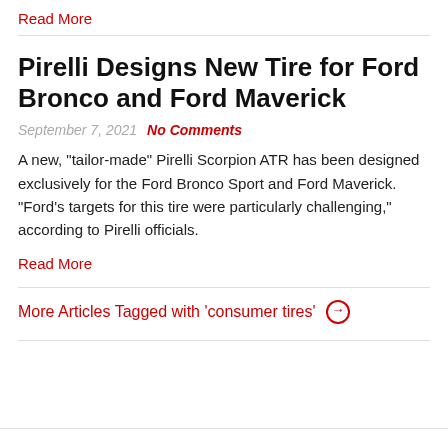Read More
Pirelli Designs New Tire for Ford Bronco and Ford Maverick
September 7, 2021   No Comments
A new, "tailor-made" Pirelli Scorpion ATR has been designed exclusively for the Ford Bronco Sport and Ford Maverick. "Ford's targets for this tire were particularly challenging," according to Pirelli officials.
Read More
More Articles Tagged with 'consumer tires'